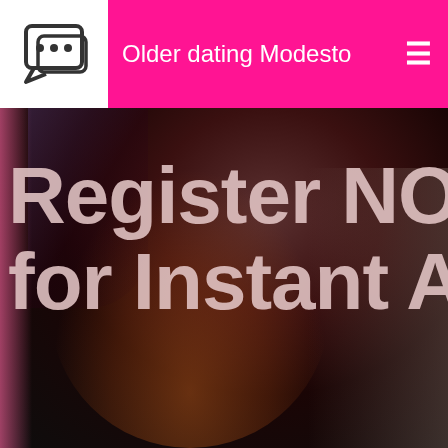Older dating Modesto
[Figure (photo): A female athlete in an orange and blue speed skating uniform celebrating with her arm raised, wearing a Dutch national team outfit with logos visible including KPN and Koreborgh. Dark arena background.]
Register NO for Instant Ac